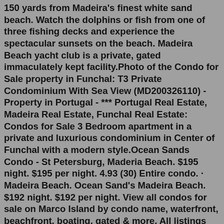150 yards from Madeira's finest white sand beach. Watch the dolphins or fish from one of three fishing decks and experience the spectacular sunsets on the beach. Madeira Beach yacht club is a private, gated immaculately kept facility.Photo of the Condo for Sale property in Funchal: T3 Private Condominium With Sea View (MD200326110) - Property in Portugal - *** Portugal Real Estate, Madeira Real Estate, Funchal Real Estate: Condos for Sale 3 Bedroom apartment in a private and luxurious condominium in Center of Funchal with a modern style.Ocean Sands Condo - St Petersburg, Maderia Beach. $195 night. $195 per night. 4.93 (30) Entire condo. · Madeira Beach. Ocean Sand's Madeira Beach. $192 night. $192 per night. View all condos for sale on Marco Island by condo name, waterfront, beachfront, boating, gated & more. All listings updated HOURLY!Ocean Sands Condo - St Petersburg, Maderia Beach. $195 night. $195 per night. 4.93 (30) Entire condo. · Madeira Beach. Ocean Sand's Madeira Beach. $192 night. $192 per night.